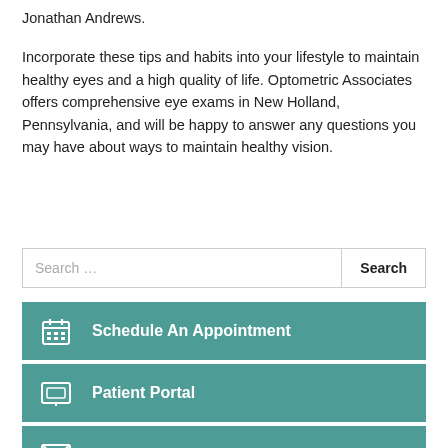Jonathan Andrews.
Incorporate these tips and habits into your lifestyle to maintain healthy eyes and a high quality of life. Optometric Associates offers comprehensive eye exams in New Holland, Pennsylvania, and will be happy to answer any questions you may have about ways to maintain healthy vision.
Search ...
Schedule An Appointment
Patient Portal
Email Us
Tour Our Office